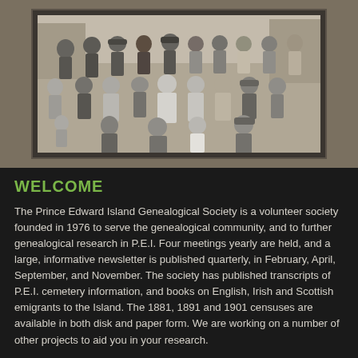[Figure (photo): Black and white historical photograph of a large group of people, men and women, posed together outdoors. Appears to be a late 19th or early 20th century group portrait.]
WELCOME
The Prince Edward Island Genealogical Society is a volunteer society founded in 1976 to serve the genealogical community, and to further genealogical research in P.E.I. Four meetings yearly are held, and a large, informative newsletter is published quarterly, in February, April, September, and November. The society has published transcripts of P.E.I. cemetery information, and books on English, Irish and Scottish emigrants to the Island. The 1881, 1891 and 1901 censuses are available in both disk and paper form. We are working on a number of other projects to aid you in your research.
OUR 2014 EVENT